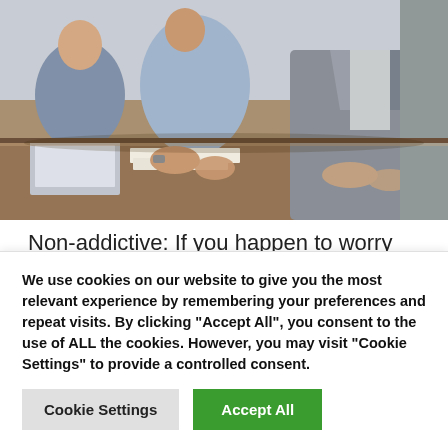[Figure (photo): Business meeting photo showing several people seated at a conference table, wearing professional attire (business casual shirts and jackets), with a laptop and papers visible on the wooden table.]
Non-addictive: If you happen to worry that you are going to now not be capable of do with out this drug if you select to discontinue, you might be fallacious. Oros CBD gummies are non-addictive and don't have any
We use cookies on our website to give you the most relevant experience by remembering your preferences and repeat visits. By clicking "Accept All", you consent to the use of ALL the cookies. However, you may visit "Cookie Settings" to provide a controlled consent.